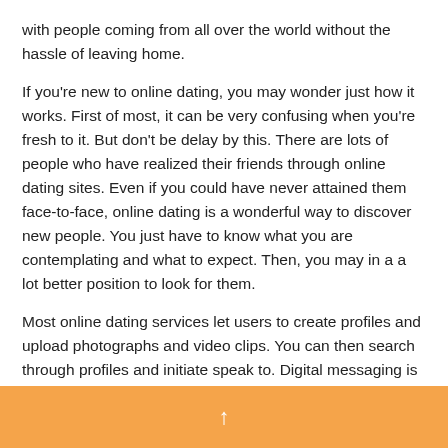with people coming from all over the world without the hassle of leaving home.
If you're new to online dating, you may wonder just how it works. First of most, it can be very confusing when you're fresh to it. But don't be delay by this. There are lots of people who have realized their friends through online dating sites. Even if you could have never attained them face-to-face, online dating is a wonderful way to discover new people. You just have to know what you are contemplating and what to expect. Then, you may in a a lot better position to look for them.
Most online dating services let users to create profiles and upload photographs and video clips. You can then search through profiles and initiate speak to. Digital messaging is normal for most services, but some offer additional products and services like message boards and webcasts. Many online
↑